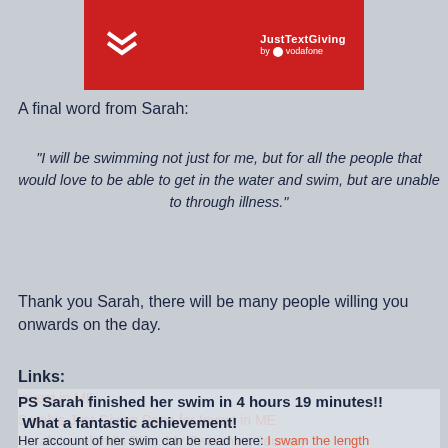[Figure (logo): JustTextGiving by Vodafone red banner logo with white chevron arrows]
A final word from Sarah:
"I will be swimming not just for me, but for all the people that would love to be able to get in the water and swim, but are unable to through illness."
Thank you Sarah, there will be many people willing you onwards on the day.
Links:
Invest in ME
Sarah's Just Giving Page for Invest in ME
Sarah Loveland's Blog: My Swimming Journey
Article in Chronicle Live about Sarah's Swim
PS Sarah finished her swim in 4 hours 19 minutes!! What a fantastic achievement!
Her account of her swim can be read here: I swam the length